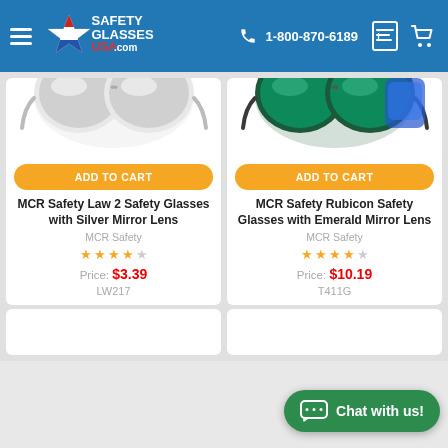Safety Glasses USA | 1-800-870-6189
[Figure (screenshot): Product card - MCR Safety Law 2 Safety Glasses with Silver Mirror Lens, price $3.39, SKU LW217, 3.5 star rating, Add to Cart button]
[Figure (screenshot): Product card - MCR Safety Rubicon Safety Glasses with Emerald Mirror Lens, price $10.19, SKU T411G, 3.5 star rating, Add to Cart button]
Chat with us!